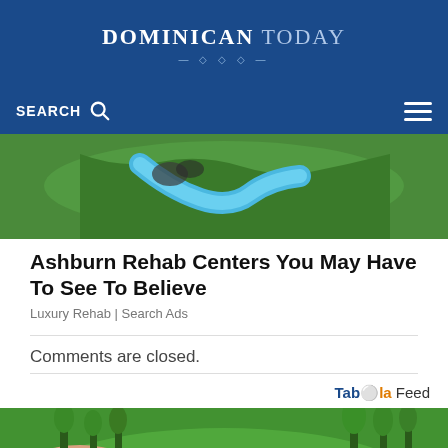DOMINICAN TODAY
[Figure (photo): Aerial view of a green landscape with a river or stream running through rocks and lush grass]
Ashburn Rehab Centers You May Have To See To Believe
Luxury Rehab | Search Ads
Comments are closed.
Taboola Feed
[Figure (photo): Aerial view of a pink/terracotta dome-shaped resort or building surrounded by manicured green landscaping and trees]